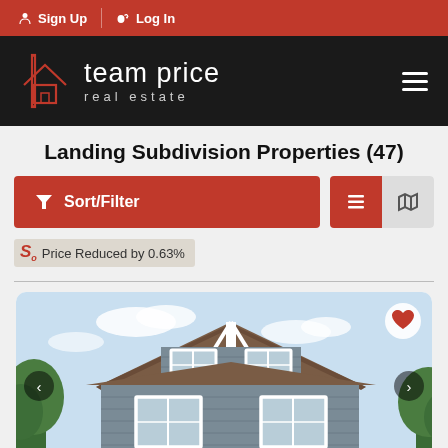Sign Up  Log In
[Figure (logo): Team Price Real Estate logo — house icon outline in red on black background, text 'team price real estate' in white]
Landing Subdivision Properties (47)
Sort/Filter  (list view icon)  (map icon)
Price Reduced by 0.63%
[Figure (photo): Exterior photo of a two-story craftsman-style home with gray siding, white trim windows, brown shingle roof, and trees in the background]